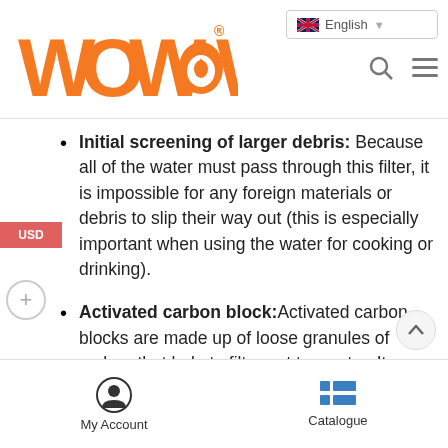[Figure (logo): WOWOW logo in orange text with a water drop replacing the second O]
Initial screening of larger debris: Because all of the water must pass through this filter, it is impossible for any foreign materials or debris to slip their way out (this is especially important when using the water for cooking or drinking).
Activated carbon block: Activated carbon blocks are made up of loose granules of carbon that help to filter out tap water. It can improve water quality, eliminate nasty odors, and get rid of chlorine and other pollutants.
My Account   Catalogue